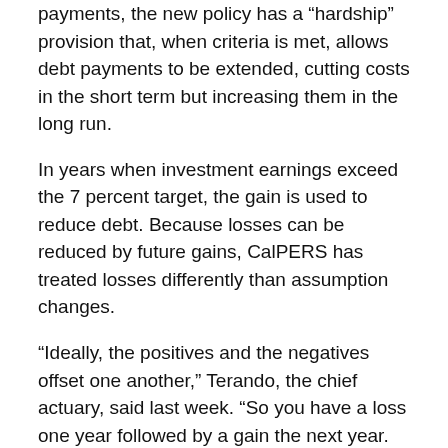payments, the new policy has a “hardship” provision that, when criteria is met, allows debt payments to be extended, cutting costs in the short term but increasing them in the long run.
In years when investment earnings exceed the 7 percent target, the gain is used to reduce debt. Because losses can be reduced by future gains, CalPERS has treated losses differently than assumption changes.
“Ideally, the positives and the negatives offset one another,” Terando, the chief actuary, said last week. “So you have a loss one year followed by a gain the next year. As you amortize those, they are offsetting payments.”
Under a new “risk mitigation” policy that begins this fiscal year, when investment earnings exceed 9 percent the